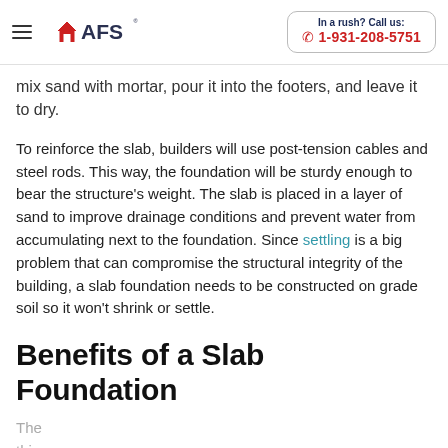AFS | In a rush? Call us: 1-931-208-5751
mix sand with mortar, pour it into the footers, and leave it to dry.
To reinforce the slab, builders will use post-tension cables and steel rods. This way, the foundation will be sturdy enough to bear the structure's weight. The slab is placed in a layer of sand to improve drainage conditions and prevent water from accumulating next to the foundation. Since settling is a big problem that can compromise the structural integrity of the building, a slab foundation needs to be constructed on grade soil so it won't shrink or settle.
Benefits of a Slab Foundation
The...